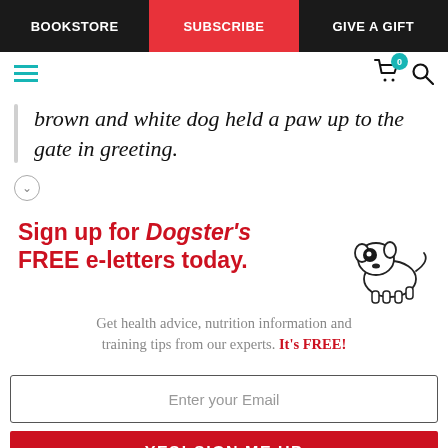BOOKSTORE | SUBSCRIBE | GIVE A GIFT
brown and white dog held a paw up to the gate in greeting.
Sign up for Dogster's FREE e-letters today. Get health advice, nutrition information and training tips from our experts. It's FREE!
Enter your Email
YES! SIGN ME UP